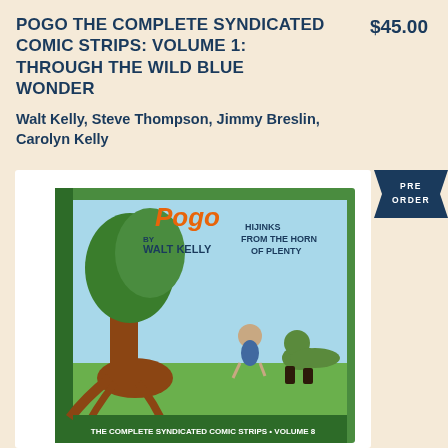POGO THE COMPLETE SYNDICATED COMIC STRIPS: VOLUME 1: THROUGH THE WILD BLUE WONDER
$45.00
Walt Kelly, Steve Thompson, Jimmy Breslin, Carolyn Kelly
[Figure (photo): Book cover of Pogo The Complete Syndicated Comic Strips Volume 8, showing the Pogo comic strip characters including a raccoon-like character and another animal character in a swamp setting, with a large tree. Title reads 'Pogo by Walt Kelly - Hijinks From the Horn of Plenty - The Complete Syndicated Comic Strips Volume 8'. Green border cover.]
PRE ORDER